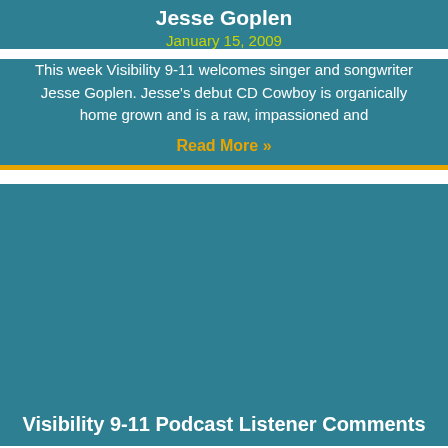Jesse Goplen
January 15, 2009
This week Visibility 9-11 welcomes singer and songwriter Jesse Goplen.  Jesse's debut CD Cowboy is organically home grown and is a raw, impassioned and
Read More »
Visibility 9-11 Podcast Listener Comments